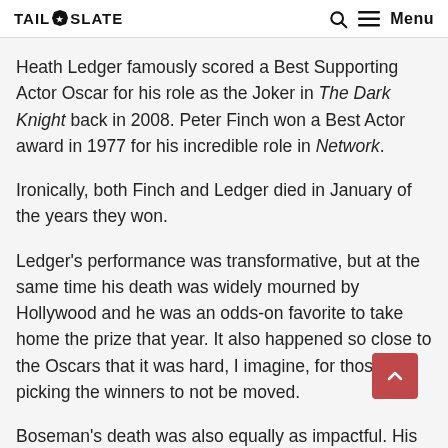TAIL SLATE — Menu
Heath Ledger famously scored a Best Supporting Actor Oscar for his role as the Joker in The Dark Knight back in 2008. Peter Finch won a Best Actor award in 1977 for his incredible role in Network.
Ironically, both Finch and Ledger died in January of the years they won.
Ledger's performance was transformative, but at the same time his death was widely mourned by Hollywood and he was an odds-on favorite to take home the prize that year. It also happened so close to the Oscars that it was hard, I imagine, for those picking the winners to not be moved.
Boseman's death was also equally as impactful. His